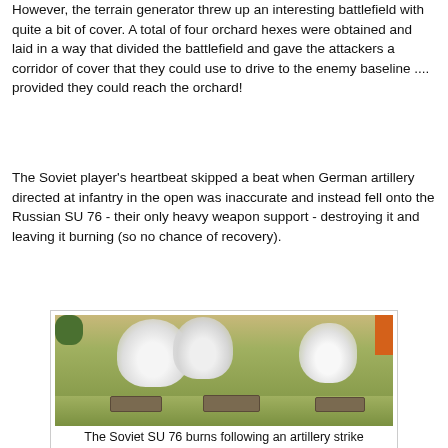However, the terrain generator threw up an interesting battlefield with quite a bit of cover. A total of four orchard hexes were obtained and laid in a way that divided the battlefield and gave the attackers a corridor of cover that they could use to drive to the enemy baseline .... provided they could reach the orchard!
The Soviet player's heartbeat skipped a beat when German artillery directed at infantry in the open was inaccurate and instead fell onto the Russian SU 76 - their only heavy weapon support - destroying it and leaving it burning (so no chance of recovery).
[Figure (photo): Photo of miniature wargame figures on a green battlefield mat, showing burning Soviet SU 76 vehicles represented by large white smoke plumes on miniature bases.]
The Soviet SU 76 burns following an artillery strike